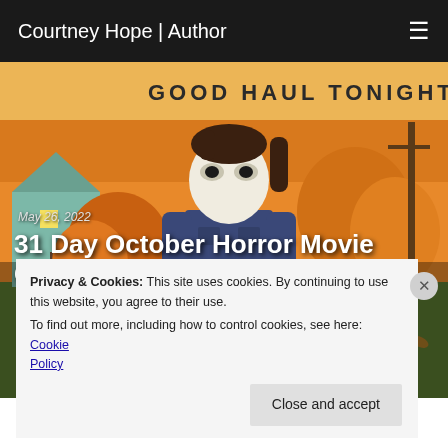Courtney Hope | Author
[Figure (illustration): Illustrated scene showing Michael Myers (Halloween character) in a blue shirt and white mask standing on a suburban street with autumn orange trees, a house in background, and text 'GOOD HAUL TONIGHT.' at top]
May 26, 2022
31 Day October Horror Movie Challenge - Part 4
Privacy & Cookies: This site uses cookies. By continuing to use this website, you agree to their use.
To find out more, including how to control cookies, see here: Cookie Policy